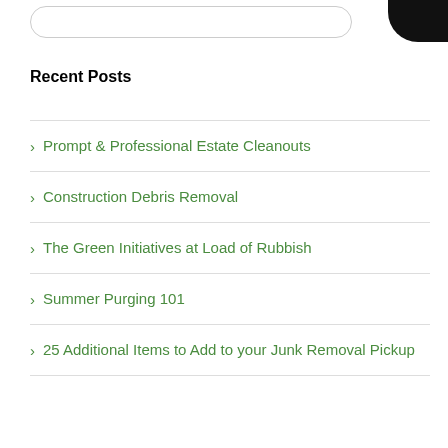Recent Posts
Prompt & Professional Estate Cleanouts
Construction Debris Removal
The Green Initiatives at Load of Rubbish
Summer Purging 101
25 Additional Items to Add to your Junk Removal Pickup